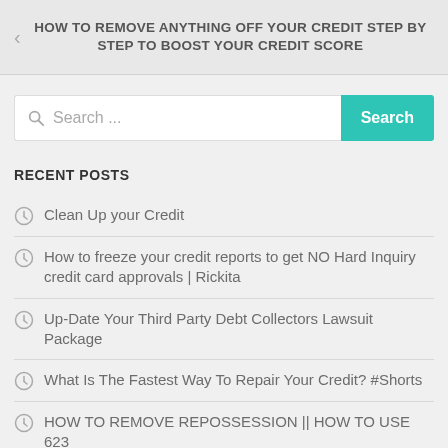HOW TO REMOVE ANYTHING OFF YOUR CREDIT STEP BY STEP TO BOOST YOUR CREDIT SCORE
Search ...
RECENT POSTS
Clean Up your Credit
How to freeze your credit reports to get NO Hard Inquiry credit card approvals | Rickita
Up-Date Your Third Party Debt Collectors Lawsuit Package
What Is The Fastest Way To Repair Your Credit? #Shorts
HOW TO REMOVE REPOSSESSION || HOW TO USE 623